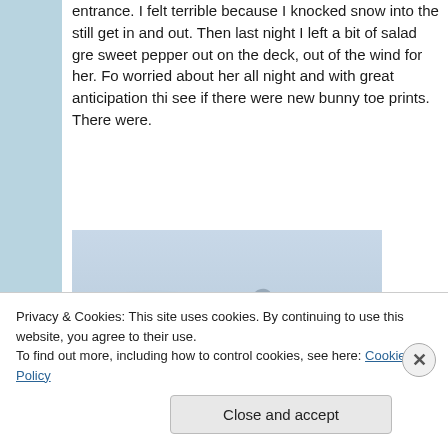entrance. I felt terrible because I knocked snow into the still get in and out. Then last night I left a bit of salad gre sweet pepper out on the deck, out of the wind for her. Fo worried about her all night and with great anticipation thi see if there were new bunny toe prints. There were.
[Figure (photo): A photograph showing animal footprints (bunny toe prints) in snow. The background is bluish-grey snow with several small paw print impressions visible.]
Privacy & Cookies: This site uses cookies. By continuing to use this website, you agree to their use.
To find out more, including how to control cookies, see here: Cookie Policy